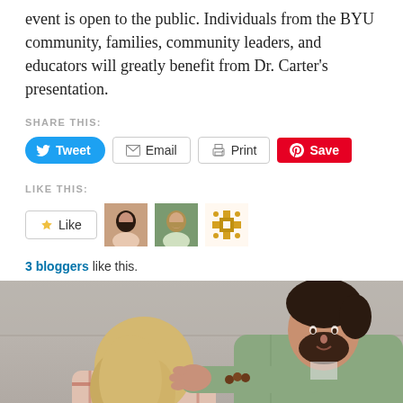event is open to the public. Individuals from the BYU community, families, community leaders, and educators will greatly benefit from Dr. Carter's presentation.
SHARE THIS:
[Figure (screenshot): Social sharing buttons: Tweet (Twitter/blue), Email (outline), Print (outline), Save (Pinterest/red)]
LIKE THIS:
[Figure (screenshot): Like button with star icon, followed by three avatar images of bloggers]
3 bloggers like this.
[Figure (photo): A man in a green jacket places his hand on the head of a woman with blonde hair who is bent forward. Both are sitting outdoors on a concrete surface.]